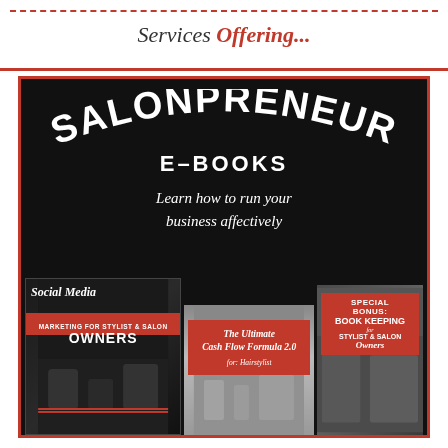Services Offering...
[Figure (infographic): Salonpreneur E-Books promotional advertisement on black background showing three book covers: Social Media Marketing for Stylist & Salon Owners, The Ultimate Cash Flow Formula 2.0 for Hairstylist, and Special Bonus: Book Keeping for Stylist & Salon Owners. Tagline: Learn how to run your business affectively.]